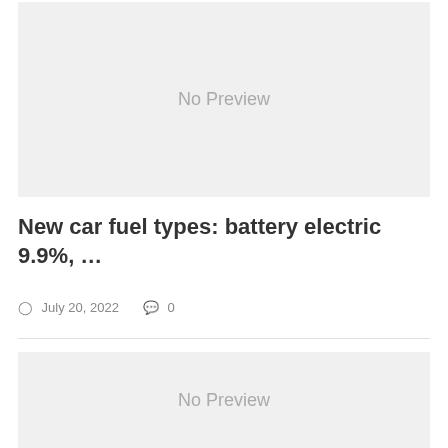[Figure (other): No Preview placeholder image box at top]
New car fuel types: battery electric 9.9%, …
July 20, 2022   0
[Figure (other): No Preview placeholder image box at bottom]